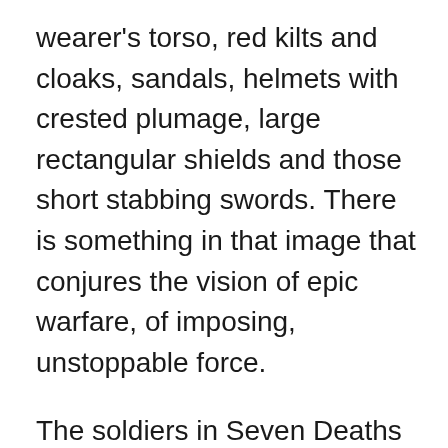wearer's torso, red kilts and cloaks, sandals, helmets with crested plumage, large rectangular shields and those short stabbing swords. There is something in that image that conjures the vision of epic warfare, of imposing, unstoppable force.
The soldiers in Seven Deaths of an Empire use those short swords (gladius), those large shields (Scutum), throwing spears (Pila) which famously bend on impact so that none can be thrown back. All of that had to be incorporated into the battles which take place